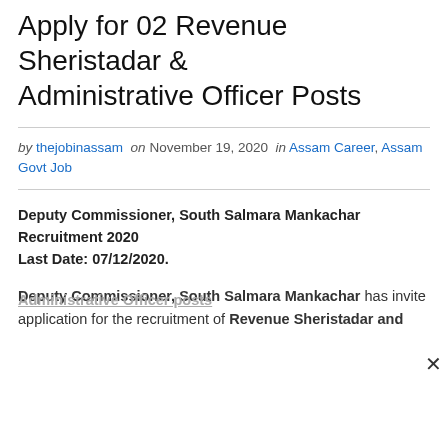Apply for 02 Revenue Sheristadar & Administrative Officer Posts
by thejobinassam on November 19, 2020 in Assam Career, Assam Govt Job
Deputy Commissioner, South Salmara Mankachar Recruitment 2020
Last Date: 07/12/2020.
Deputy Commissioner, South Salmara Mankachar has invite application for the recruitment of Revenue Sheristadar and Administrative Officer posts.